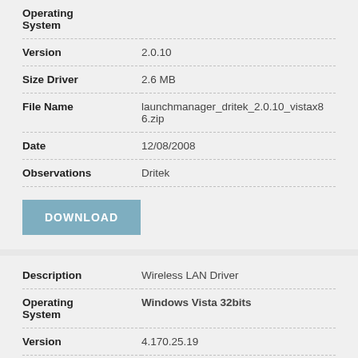| Field | Value |
| --- | --- |
| Operating System |  |
| Version | 2.0.10 |
| Size Driver | 2.6 MB |
| File Name | launchmanager_dritek_2.0.10_vistax86.zip |
| Date | 12/08/2008 |
| Observations | Dritek |
DOWNLOAD
| Field | Value |
| --- | --- |
| Description | Wireless LAN Driver |
| Operating System | Windows Vista 32bits |
| Version | 4.170.25.19 |
| Size Driver | 10.8 MB |
| File Name | wlan_broadcom_4.170.25.19_vistax86.zip |